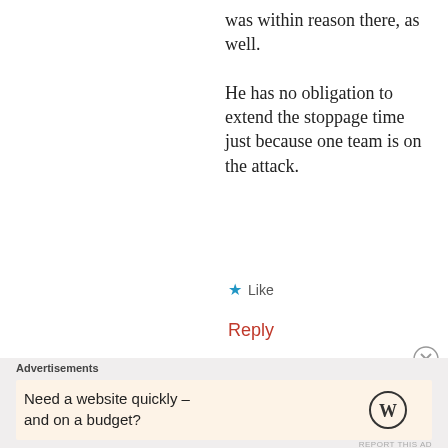was within reason there, as well.

He has no obligation to extend the stoppage time just because one team is on the attack.
Like
Reply
Advertisements
Need a website quickly – and on a budget?